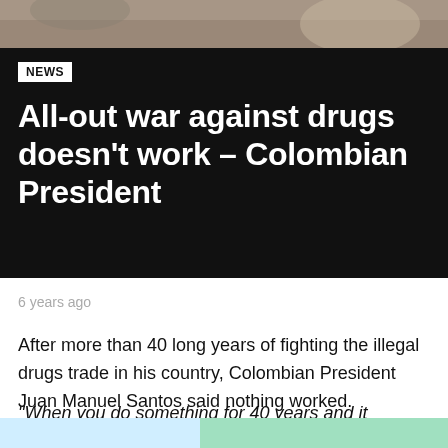[Figure (photo): Partial photo header image at the top of the page, showing indistinct objects against a muted background]
NEWS
All-out war against drugs doesn’t work – Colombian President
6 years ago
After more than 40 long years of fighting the illegal drugs trade in his country, Colombian President Juan Manuel Santos said nothing worked.
“When you do something for 40 years and it doesn’t work, you need to change it,” Santos recently told the New York Times.
[Figure (screenshot): Partial advertisement or promotional banner at the bottom of the page with MEME text visible]